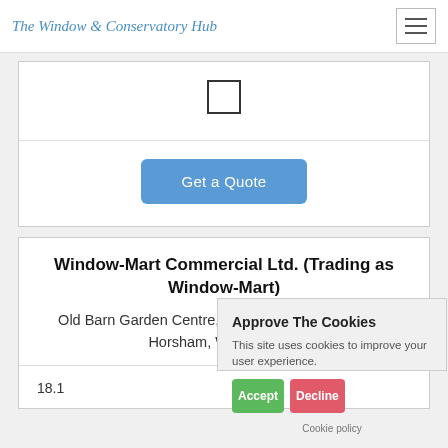The Window & Conservatory Hub
[Figure (screenshot): Checkbox (unchecked) form element]
Get a Quote
Window-Mart Commercial Ltd. (Trading as Window-Mart)
Old Barn Garden Centre, Worthing Road, Dial Post, Horsham, West S...
18.1...
Approve The Cookies
This site uses cookies to improve your user experience.
Accept
Decline
Cookie policy